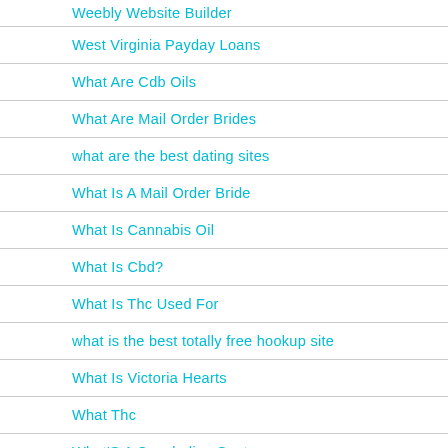Weebly Website Builder
West Virginia Payday Loans
What Are Cdb Oils
What Are Mail Order Brides
what are the best dating sites
What Is A Mail Order Bride
What Is Cannabis Oil
What Is Cbd?
What Is Thc Used For
what is the best totally free hookup site
What Is Victoria Hearts
What Thc
What'S A Concluding Sentence